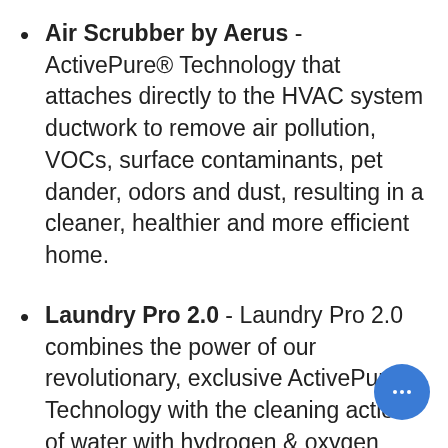Air Scrubber by Aerus - ActivePure® Technology that attaches directly to the HVAC system ductwork to remove air pollution, VOCs, surface contaminants, pet dander, odors and dust, resulting in a cleaner, healthier and more efficient home.
Laundry Pro 2.0 - Laundry Pro 2.0 combines the power of our revolutionary, exclusive ActivePure® Technology with the cleaning action of water with hydrogen & oxygen based oxidizers to lift dirt and grime away from the fibers of fabric and prevent the